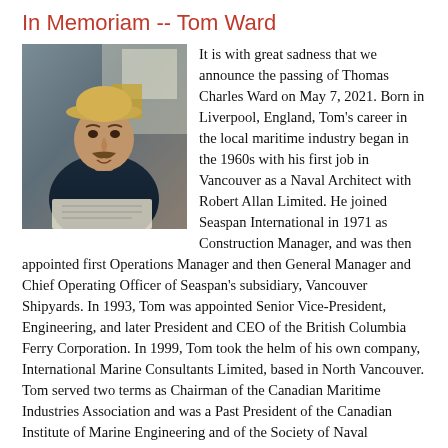In Memoriam -- Tom Ward
[Figure (photo): Black and white photo of Tom Ward, a man wearing a hat, seated and reading papers]
It is with great sadness that we announce the passing of Thomas Charles Ward on May 7, 2021. Born in Liverpool, England, Tom's career in the local maritime industry began in the 1960s with his first job in Vancouver as a Naval Architect with Robert Allan Limited. He joined Seaspan International in 1971 as Construction Manager, and was then appointed first Operations Manager and then General Manager and Chief Operating Officer of Seaspan's subsidiary, Vancouver Shipyards. In 1993, Tom was appointed Senior Vice-President, Engineering, and later President and CEO of the British Columbia Ferry Corporation. In 1999, Tom took the helm of his own company, International Marine Consultants Limited, based in North Vancouver. Tom served two terms as Chairman of the Canadian Maritime Industries Association and was a Past President of the Canadian Institute of Marine Engineering and of the Society of Naval Architects and Marine Engineers. In 2013, he was awarded that year's Medal of Excellence by the Canadian Institute of Marine Engineering.
Canadian Coast Guard officially opens new